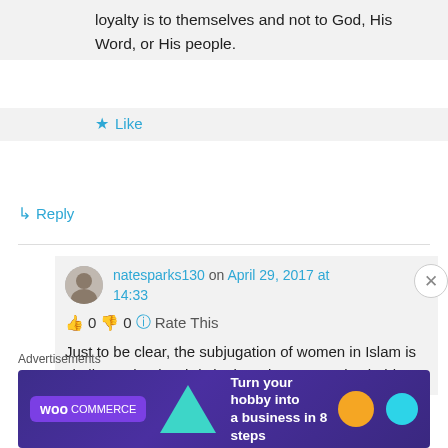loyalty is to themselves and not to God, His Word, or His people.
★ Like
↳ Reply
natesparks130 on April 29, 2017 at 14:33
👍 0 👎 0 ℹ Rate This
Just to be clear, the subjugation of women in Islam is similar to that in Christianity. It isn't a practice held
Advertisements
[Figure (other): WooCommerce advertisement banner: Turn your hobby into a business in 8 steps]